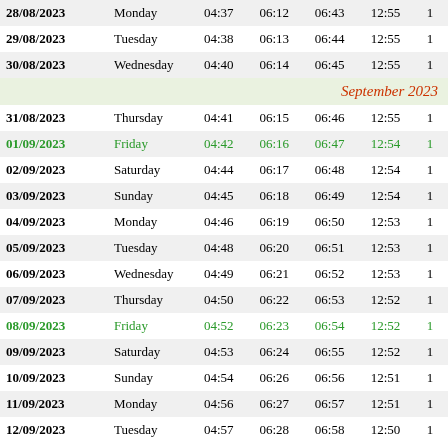| Date | Day | Col3 | Col4 | Col5 | Col6 | Col7 |
| --- | --- | --- | --- | --- | --- | --- |
| 28/08/2023 | Monday | 04:37 | 06:12 | 06:43 | 12:55 | 1 |
| 29/08/2023 | Tuesday | 04:38 | 06:13 | 06:44 | 12:55 | 1 |
| 30/08/2023 | Wednesday | 04:40 | 06:14 | 06:45 | 12:55 | 1 |
|  |  |  |  | September 2023 |  |  |
| 31/08/2023 | Thursday | 04:41 | 06:15 | 06:46 | 12:55 | 1 |
| 01/09/2023 | Friday | 04:42 | 06:16 | 06:47 | 12:54 | 1 |
| 02/09/2023 | Saturday | 04:44 | 06:17 | 06:48 | 12:54 | 1 |
| 03/09/2023 | Sunday | 04:45 | 06:18 | 06:49 | 12:54 | 1 |
| 04/09/2023 | Monday | 04:46 | 06:19 | 06:50 | 12:53 | 1 |
| 05/09/2023 | Tuesday | 04:48 | 06:20 | 06:51 | 12:53 | 1 |
| 06/09/2023 | Wednesday | 04:49 | 06:21 | 06:52 | 12:53 | 1 |
| 07/09/2023 | Thursday | 04:50 | 06:22 | 06:53 | 12:52 | 1 |
| 08/09/2023 | Friday | 04:52 | 06:23 | 06:54 | 12:52 | 1 |
| 09/09/2023 | Saturday | 04:53 | 06:24 | 06:55 | 12:52 | 1 |
| 10/09/2023 | Sunday | 04:54 | 06:26 | 06:56 | 12:51 | 1 |
| 11/09/2023 | Monday | 04:56 | 06:27 | 06:57 | 12:51 | 1 |
| 12/09/2023 | Tuesday | 04:57 | 06:28 | 06:58 | 12:50 | 1 |